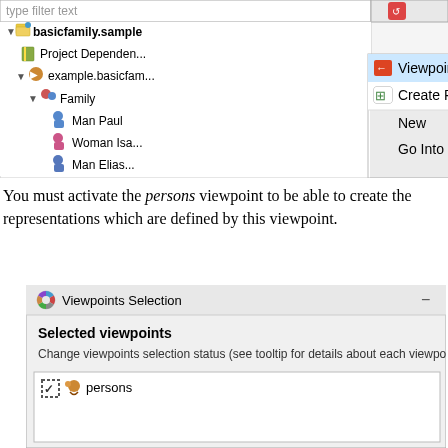[Figure (screenshot): Eclipse IDE project explorer tree showing basicfamily.sample with subnodes, with a right-click context menu open showing Viewpoints Selection (highlighted), Create Representation, New, and Go Into options. A cursor arrow is visible near Viewpoints Selection.]
You must activate the persons viewpoint to be able to create the representations which are defined by this viewpoint.
[Figure (screenshot): Viewpoints Selection dialog panel showing 'Selected viewpoints' section header, description text about changing viewpoints selection status, and a list area with a dashed checkbox checked next to a 'persons' viewpoint item with an icon.]